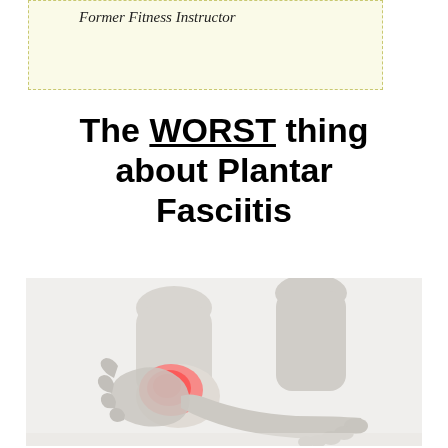Former Fitness Instructor
The WORST thing about Plantar Fasciitis
[Figure (photo): Close-up photograph of a person holding their heel/foot with a red highlighted area indicating pain at the heel, consistent with plantar fasciitis. The image is in grayscale with a red/pink highlight on the painful area.]